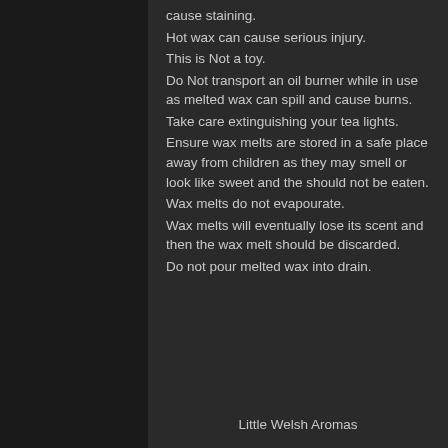cause staining.
Hot wax can cause serious injury.
This is Not a toy.
Do Not transport an oil burner while in use as melted wax can spill and cause burns.
Take care extinguishing your tea lights.
Ensure wax melts are stored in a safe place away from children as they may smell or look like sweet and the should not be eaten.
Wax melts do not evapourate.
Wax melts will eventually lose its scent and then the wax melt should be discarded.
Do not pour melted wax into drain.
Little Welsh Aromas